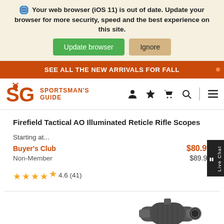Your web browser (iOS 11) is out of date. Update your browser for more security, speed and the best experience on this site.
Update browser | Ignore
SEE ALL THE NEW ARRIVALS FOR FALL
[Figure (logo): Sportsman's Guide logo with SG letters in orange and deer icon]
Firefield Tactical AO Illuminated Reticle Rifle Scopes
Starting at...
Buyer's Club  $80.99
Non-Member  $89.99
4.6 (41)
[Figure (photo): Partial view of a tactical rifle scope at bottom of page]